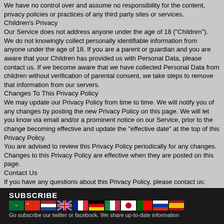We have no control over and assume no responsibility for the content, privacy policies or practices of any third party sites or services.
Children's Privacy
Our Service does not address anyone under the age of 18 ("Children").
We do not knowingly collect personally identifiable information from anyone under the age of 18. If you are a parent or guardian and you are aware that your Children has provided us with Personal Data, please contact us. If we become aware that we have collected Personal Data from children without verification of parental consent, we take steps to remove that information from our servers.
Changes To This Privacy Policy
We may update our Privacy Policy from time to time. We will notify you of any changes by posting the new Privacy Policy on this page. We will let you know via email and/or a prominent notice on our Service, prior to the change becoming effective and update the "effective date" at the top of this Privacy Policy.
You are advised to review this Privacy Policy periodically for any changes. Changes to this Privacy Policy are effective when they are posted on this page.
Contact Us
If you have any questions about this Privacy Policy, please contact us:
By visiting this page on our website: /en/support/
SUBSCRIBE
Go subscribe our twitter or facebook. We share up-to-date information